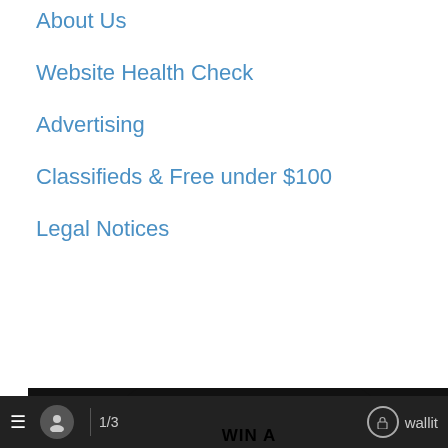About Us
Website Health Check
Advertising
Classifieds & Free under $100
Legal Notices
[Figure (infographic): Advertisement popup for Lakes & Homes Real Estate shaped like a house silhouette. Contains: WIN A $250 GIFT BASKET headline; QR code box with text 'SCAN QR CODE to schedule your complimentary consultation & be entered to win a $250 gift basket filled with local merchandise!'; tagline 'List with us today & get your house SOLD!'; company name LAKES & HOMES REAL ESTATE; website www.lakesandhomesre.com | 802-671-8042; address 55 VT Route 30 N, Bomoseen, VT 05732; second location: 143 Main Street, Poultney, VT 05764]
≡  [avatar]  1/3   [lock] wallit